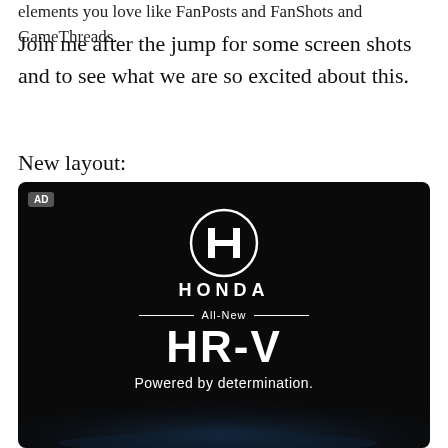elements you love like FanPosts and FanShots and GameThreads.
Join me after the jump for some screen shots and to see what we are so excited about this.
New layout:
[Figure (photo): Honda advertisement with black background showing Honda logo, 'HONDA' wordmark, 'All-New HR-V' text, and 'Powered by determination.' tagline. An 'AD' badge is in the top-left corner.]